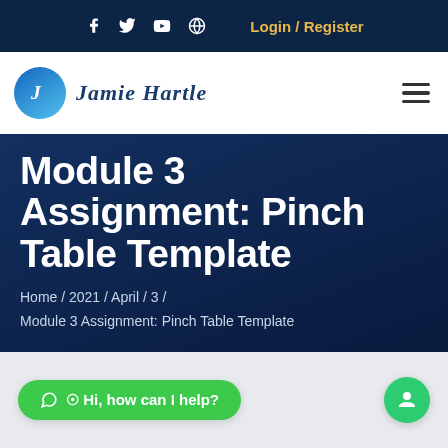Login / Register
[Figure (logo): Jamie Hartle logo with circular blue gradient icon and cursive name]
Module 3 Assignment: Pinch Table Template
Home / 2021 / April / 3 /
Module 3 Assignment: Pinch Table Template
Hi, how can I help?